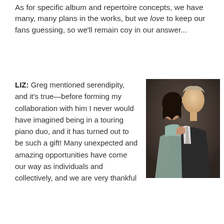As for specific album and repertoire concepts, we have many, many plans in the works, but we love to keep our fans guessing, so we'll remain coy in our answer...
LIZ: Greg mentioned serendipity, and it's true—before forming my collaboration with him I never would have imagined being in a touring piano duo, and it has turned out to be such a gift! Many unexpected and amazing opportunities have
[Figure (photo): A man and woman posing together in a professional photo shoot. The woman has dark hair and is wearing a light blue/grey dress, leaning against a man in a dark suit with a tie, against a dark background.]
be such a gift! Many unexpected and amazing opportunities have come our way as individuals and collectively, and we are very thankful